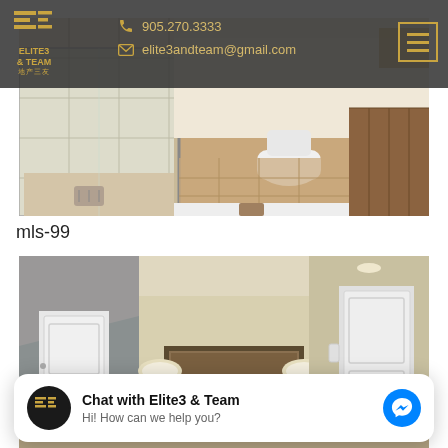[Figure (photo): Website header with Elite3 & Team logo, phone number 905.270.3333, email elite3andteam@gmail.com, and hamburger menu icon on dark background]
[Figure (photo): Interior bathroom photo showing glass shower, toilet, and wood-panel bathtub surround with tile flooring]
mls-99
[Figure (photo): Interior hallway/room photo showing white doors, ceiling lights, framed artwork, and floor lamp with cream shade]
[Figure (screenshot): Chat widget overlay: 'Chat with Elite3 & Team' with subtext 'Hi! How can we help you?' and Facebook Messenger icon]